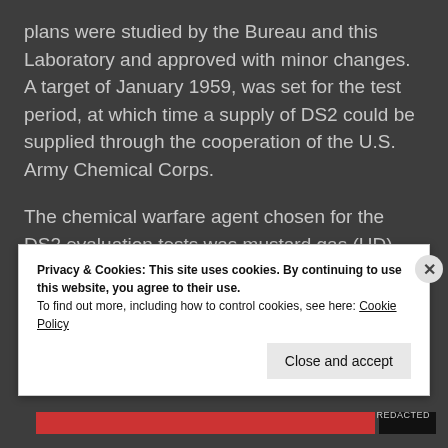plans were studied by the Bureau and this Laboratory and approved with minor changes. A target of January 1959, was set for the test period, at which time a supply of DS2 could be supplied through the cooperation of the U.S. Army Chemical Corps.
The chemical warfare agent chosen for the DS2 evaluation tests was mustard gas (HD). Laboratory tests by the Chemical Corps had
Privacy & Cookies: This site uses cookies. By continuing to use this website, you agree to their use.
To find out more, including how to control cookies, see here: Cookie Policy
Close and accept